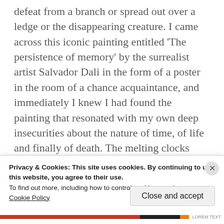defeat from a branch or spread out over a ledge or the disappearing creature. I came across this iconic painting entitled 'The persistence of memory' by the surrealist artist Salvador Dali in the form of a poster in the room of a chance acquaintance, and immediately I knew I had found the painting that resonated with my own deep insecurities about the nature of time, of life and finally of death. The melting clocks seemed to address the impossibility of nailing time, as well as the fluidity of its perception in human consciousness. Indeed as Salvador Dali
Privacy & Cookies: This site uses cookies. By continuing to use this website, you agree to their use.
To find out more, including how to control cookies, see here:
Cookie Policy
Close and accept